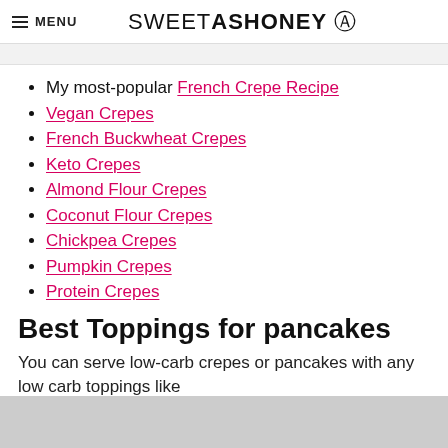≡ MENU   SWEETASHONEY ⊙
My most-popular French Crepe Recipe
Vegan Crepes
French Buckwheat Crepes
Keto Crepes
Almond Flour Crepes
Coconut Flour Crepes
Chickpea Crepes
Pumpkin Crepes
Protein Crepes
Best Toppings for pancakes
You can serve low-carb crepes or pancakes with any low carb toppings like
ad